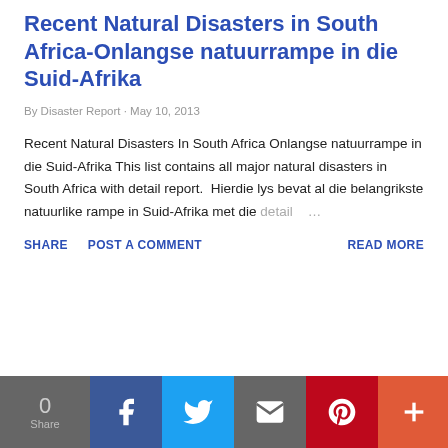Recent Natural Disasters in South Africa-Onlangse natuurrampe in die Suid-Afrika
By Disaster Report · May 10, 2013
Recent Natural Disasters In South Africa Onlangse natuurrampe in die Suid-Afrika This list contains all major natural disasters in South Africa with detail report.  Hierdie lys bevat al die belangrikste natuurlike rampe in Suid-Afrika met die detail …
SHARE   POST A COMMENT   READ MORE
0 Share [Facebook] [Twitter] [Email] [Pinterest] [Plus]